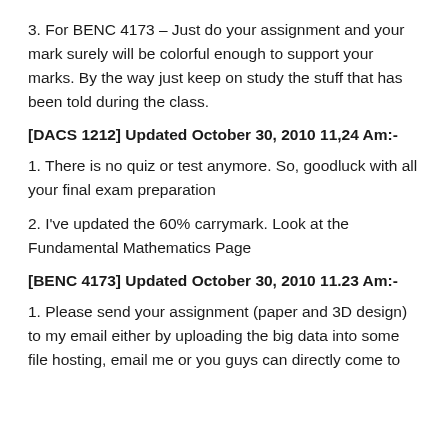3. For BENC 4173 – Just do your assignment and your mark surely will be colorful enough to support your marks. By the way just keep on study the stuff that has been told during the class.
[DACS 1212] Updated October 30, 2010 11,24 Am:-
1. There is no quiz or test anymore. So, goodluck with all your final exam preparation
2. I've updated the 60% carrymark. Look at the Fundamental Mathematics Page
[BENC 4173] Updated October 30, 2010 11.23 Am:-
1. Please send your assignment (paper and 3D design) to my email either by uploading the big data into some file hosting, email me or you guys can directly come to